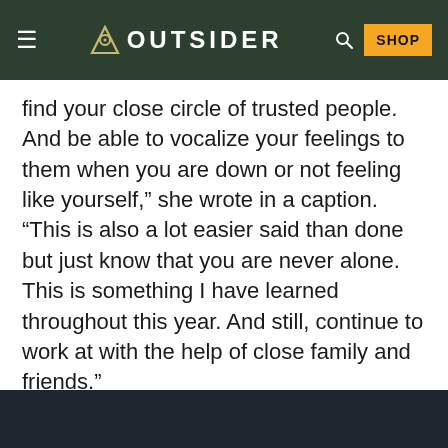OUTSIDER
find your close circle of trusted people. And be able to vocalize your feelings to them when you are down or not feeling like yourself,” she wrote in a caption. “This is also a lot easier said than done but just know that you are never alone. This is something I have learned throughout this year. And still, continue to work at with the help of close family and friends.”
ADVERTISEMENT